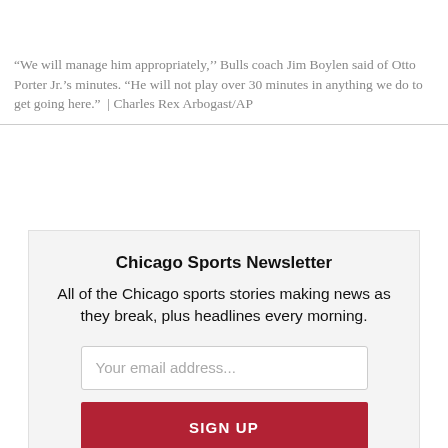“We will manage him appropriately,’’ Bulls coach Jim Boylen said of Otto Porter Jr.’s minutes. “He will not play over 30 minutes in anything we do to get going here.”  | Charles Rex Arbogast/AP
Chicago Sports Newsletter
All of the Chicago sports stories making news as they break, plus headlines every morning.
[Figure (other): Email signup form with placeholder text 'Your email address...' and a red SIGN UP button]